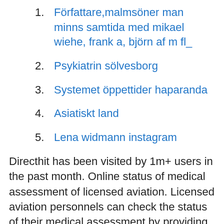Författare,malmsöner man minns samtida med mikael wiehe, frank a, björn af m fl_
Psykiatrin sölvesborg
Systemet öppettider haparanda
Asiatiskt land
Lena widmann instagram
Directhit has been visited by 1m+ users in the past month. Online status of medical assessment of licensed aviation. Licensed aviation personnels can check the status of their medical assessment by providing the file number, licence type and number. Public Notice - Opening of NEW examination portal pariksha.dgca.gov.in for Old Flight Crew candidates to register in to the New System. Instruction No